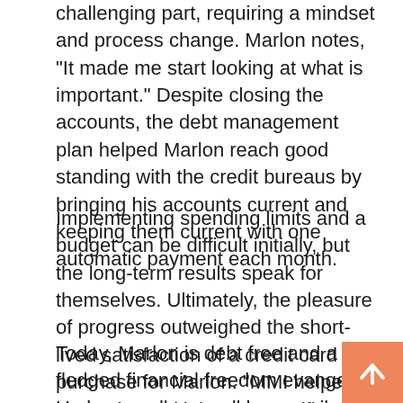challenging part, requiring a mindset and process change. Marlon notes, "It made me start looking at what is important." Despite closing the accounts, the debt management plan helped Marlon reach good standing with the credit bureaus by bringing his accounts current and keeping them current with one automatic payment each month.
Implementing spending limits and a budget can be difficult initially, but the long-term results speak for themselves. Ultimately, the pleasure of progress outweighed the short-lived satisfaction of a credit card purchase for Marlon. "MMI helped me understand that my sacrifices would benefit me in the long run," he says.
Today, Marlon is debt free and a full-fledged financial freedom evangelist. He knows all too well how easily a seemingly innocent debt can accrue until it's a millstone dragging down someone's plans and